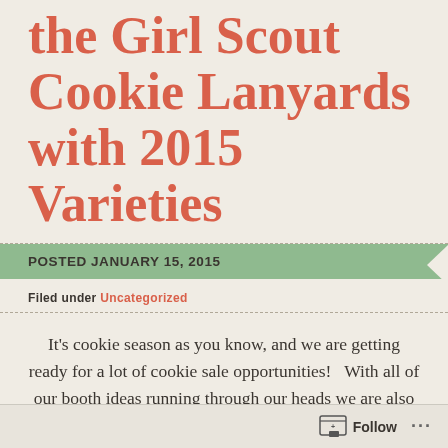the Girl Scout Cookie Lanyards with 2015 Varieties
POSTED JANUARY 15, 2015
Filed under Uncategorized
It’s cookie season as you know, and we are getting ready for a lot of cookie sale opportunities!   With all of our booth ideas running through our heads we are also getting ready for Walk About Week.  For those that don’t know that is when we go door to door as a troop.  First thing I made for the girls
Follow ...